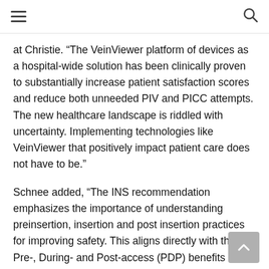at Christie. “The VeinViewer platform of devices as a hospital-wide solution has been clinically proven to substantially increase patient satisfaction scores and reduce both unneeded PIV and PICC attempts. The new healthcare landscape is riddled with uncertainty. Implementing technologies like VeinViewer that positively impact patient care does not have to be.”
Schnee added, “The INS recommendation emphasizes the importance of understanding preinsertion, insertion and post insertion practices for improving safety. This aligns directly with the Pre-, During- and Post-access (PDP) benefits VeinViewer provides.” The INS group also calls for the creation of SPC surveillance programs and audits to sustain improvements over a number of years after...